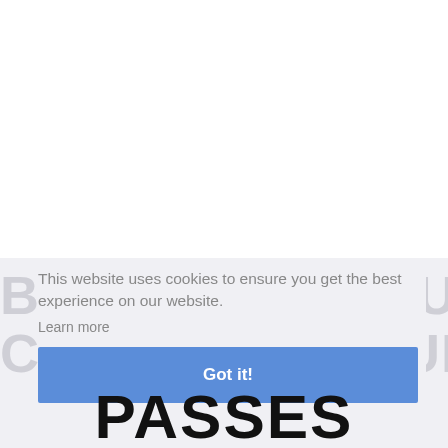[Figure (screenshot): Cookie consent banner overlay on a website page. Background shows faded large text 'BUY TRAIN SIMULATOR:' and 'CANADIAN MOUNTAIN' in light gray on a light blue-gray background. The cookie banner reads: 'This website uses cookies to ensure you get the best experience on our website.' with a 'Learn more' link and a blue 'Got it!' button. At the bottom, partial bold black text 'PASSES' is visible.]